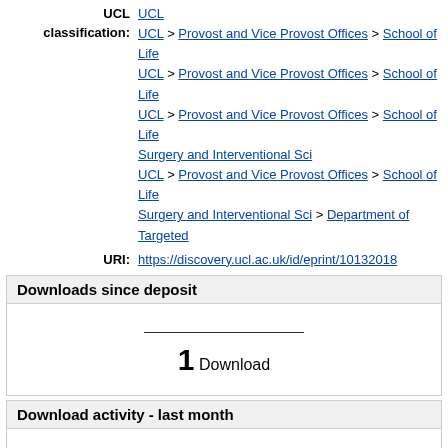UCL classification: UCL > Provost and Vice Provost Offices > School of Life | UCL > Provost and Vice Provost Offices > School of Life | UCL > Provost and Vice Provost Offices > School of Life Surgery and Interventional Sci | UCL > Provost and Vice Provost Offices > School of Life Surgery and Interventional Sci > Department of Targeted
URI: https://discovery.ucl.ac.uk/id/eprint/10132018
Downloads since deposit
1 Download
Download activity - last month
[Figure (line-chart): Download activity - last month]